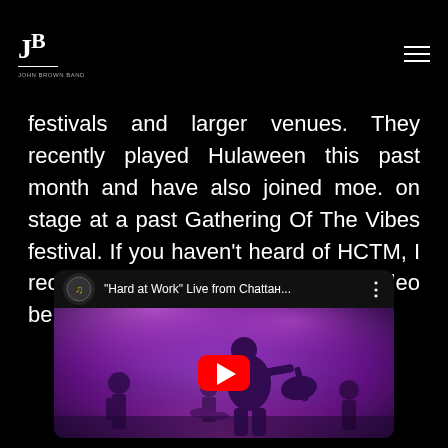JBP logo and navigation menu
festivals and larger venues. They recently played Hulaween this past month and have also joined moe. on stage at a past Gathering Of The Vibes festival. If you haven't heard of HCTM, I recommend checking out this video below.
[Figure (screenshot): YouTube video embed thumbnail showing a live concert with a guitarist on stage under purple and pink stage lights. Video title reads: "Hard at Work" Live from Chattан... with YouTube play button overlay.]